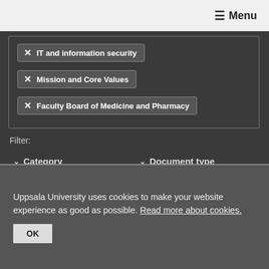≡ Menu
× IT and information security
× Mission and Core Values
× Faculty Board of Medicine and Pharmacy
Filter:
⌄ Category
⌄ Document type
⌄ Decision maker
⌄ Language
Uppsala University uses cookies to make your website experience as good as possible. Read more about cookies.
OK